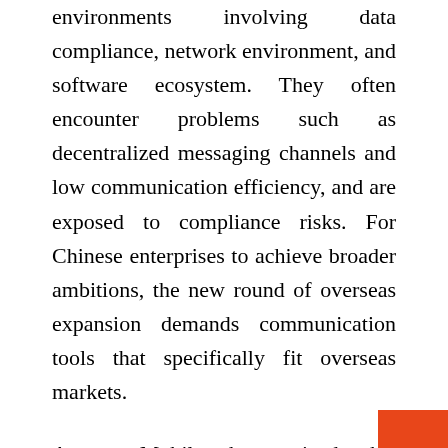environments involving data compliance, network environment, and software ecosystem. They often encounter problems such as decentralized messaging channels and low communication efficiency, and are exposed to compliance risks. For Chinese enterprises to achieve broader ambitions, the new round of overseas expansion demands communication tools that specifically fit overseas markets.
Aurora Mobile has seized this opportunity to launch the Solution. Leveraging efficient, accurate and comprehensive user reach tools, Aurora Mobile helps Chinese enterprises get more insights into the overseas markets and is confident in its capability to address customers' needs.
[Figure (other): Orange/red decorative rectangle in the bottom-right corner of the page.]